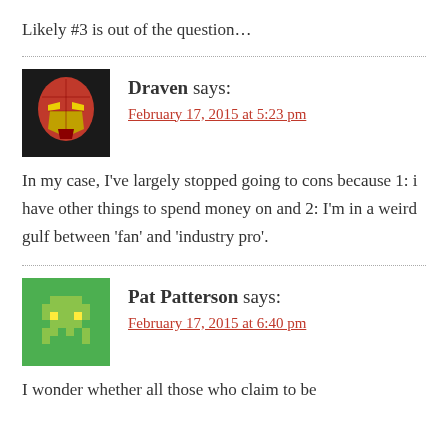Likely #3 is out of the question...
Draven says:
February 17, 2015 at 5:23 pm
In my case, I've largely stopped going to cons because 1: i have other things to spend money on and 2: I'm in a weird gulf between 'fan' and 'industry pro'.
Pat Patterson says:
February 17, 2015 at 6:40 pm
I wonder whether all those who claim to be